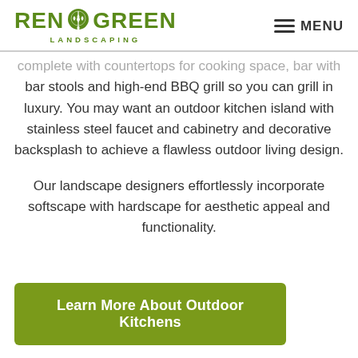RENOGREEN LANDSCAPING | MENU
complete with countertops for cooking space, bar with bar stools and high-end BBQ grill so you can grill in luxury. You may want an outdoor kitchen island with stainless steel faucet and cabinetry and decorative backsplash to achieve a flawless outdoor living design.
Our landscape designers effortlessly incorporate softscape with hardscape for aesthetic appeal and functionality.
Learn More About Outdoor Kitchens